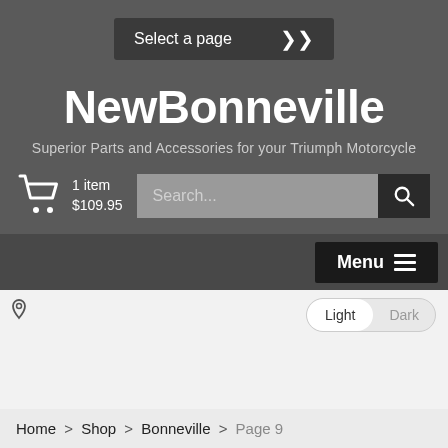Select a page
NewBonneville
Superior Parts and Accessories for your Triumph Motorcycle
1 item $109.95
Search...
Menu
Light Dark
Home > Shop > Bonneville > Page 9